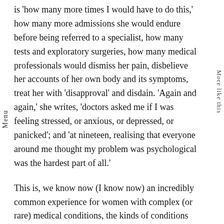is 'how many more times I would have to do this,' how many more admissions she would endure before being referred to a specialist, how many tests and exploratory surgeries, how many medical professionals would dismiss her pain, disbelieve her accounts of her own body and its symptoms, treat her with 'disapproval' and disdain. 'Again and again,' she writes, 'doctors asked me if I was feeling stressed, or anxious, or depressed, or panicked'; and 'at nineteen, realising that everyone around me thought my problem was psychological was the hardest part of all.'
This is, we know now (I know now) an incredibly common experience for women with complex (or rare) medical conditions, the kinds of conditions that have unusually varied etiologies or presentations, like endometriosis and other inflammatory diseases (or that doctors only see a handful of times in their decades-long careers, like the rumination syndrome that I live with).